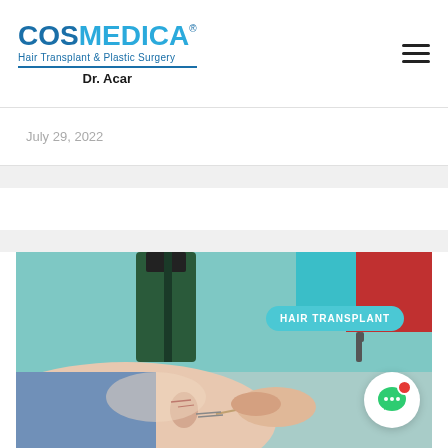COSMEDICA® Hair Transplant & Plastic Surgery Dr. Acar
July 29, 2022
[Figure (photo): Medical professional performing a hair transplant procedure on a patient's head, close-up view with surgical instruments. Teal/green background. Badge overlay reading HAIR TRANSPLANT.]